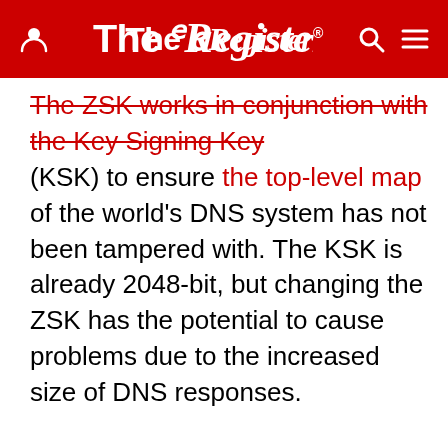The Register
The ZSK works in conjunction with the Key Signing Key (KSK) to ensure the top-level map of the world's DNS system has not been tampered with. The KSK is already 2048-bit, but changing the ZSK has the potential to cause problems due to the increased size of DNS responses.